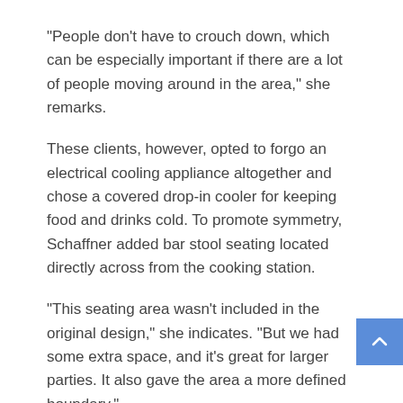“People don’t have to crouch down, which can be especially important if there are a lot of people moving around in the area,” she remarks.
These clients, however, opted to forgo an electrical cooling appliance altogether and chose a covered drop-in cooler for keeping food and drinks cold. To promote symmetry, Schaffner added bar stool seating located directly across from the cooking station.
“This seating area wasn’t included in the original design,” she indicates. “But we had some extra space, and it’s great for larger parties. It also gave the area a more defined boundary.”
To provide protection from the elements, especially the harsh summer sun, Schaffner covered the entire area. While not included in this renovation, she also often recommends the inclusion of misters. An electric heater